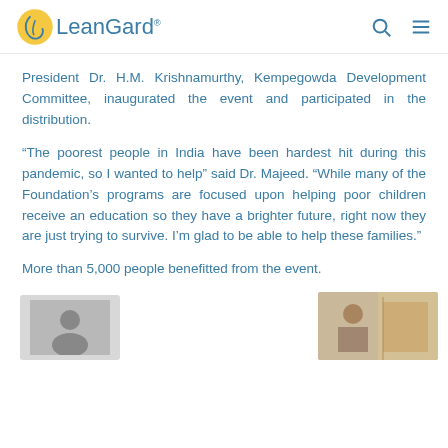LeanGard
President Dr. H.M. Krishnamurthy, Kempegowda Development Committee, inaugurated the event and participated in the distribution.
“The poorest people in India have been hardest hit during this pandemic, so I wanted to help” said Dr. Majeed. “While many of the Foundation’s programs are focused upon helping poor children receive an education so they have a brighter future, right now they are just trying to survive. I’m glad to be able to help these families.”
More than 5,000 people benefitted from the event.
[Figure (photo): Two partially visible photos at the bottom of the page showing people at the event.]